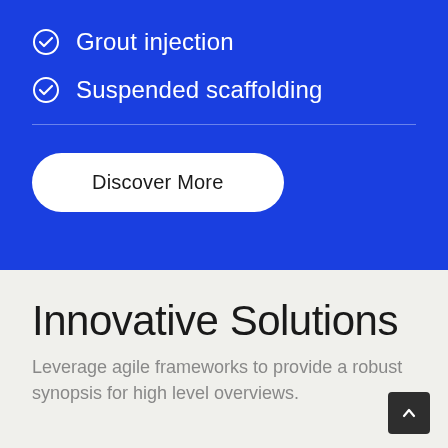Grout injection
Suspended scaffolding
Discover More
Innovative Solutions
Leverage agile frameworks to provide a robust synopsis for high level overviews.